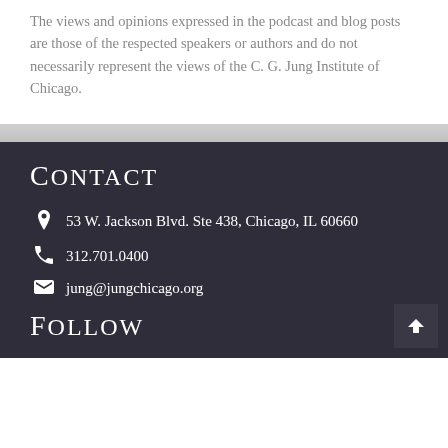The views and opinions expressed in the podcast and blog posts are those of the respected speakers or authors and do not necessarily represent the views of the C. G. Jung Institute of Chicago.
Contact
53 W. Jackson Blvd. Ste 438, Chicago, IL 60660
312.701.0400
jung@jungchicago.org
Follow